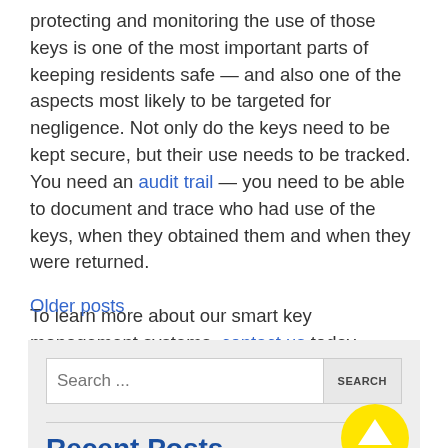protecting and monitoring the use of those keys is one of the most important parts of keeping residents safe — and also one of the aspects most likely to be targeted for negligence. Not only do the keys need to be kept secure, but their use needs to be tracked. You need an audit trail — you need to be able to document and trace who had use of the keys, when they obtained them and when they were returned.
To learn more about our smart key management systems, contact us today.
Older posts
[Figure (other): Search box with text 'Search ...' and a SEARCH button, followed by a Recent Posts section header, with a yellow circular up-arrow button in the bottom right]